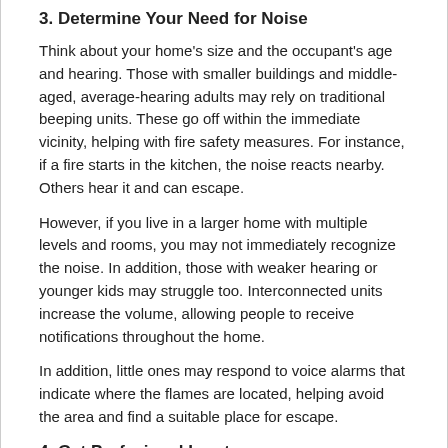3. Determine Your Need for Noise
Think about your home's size and the occupant's age and hearing. Those with smaller buildings and middle-aged, average-hearing adults may rely on traditional beeping units. These go off within the immediate vicinity, helping with fire safety measures. For instance, if a fire starts in the kitchen, the noise reacts nearby. Others hear it and can escape.
However, if you live in a larger home with multiple levels and rooms, you may not immediately recognize the noise. In addition, those with weaker hearing or younger kids may struggle too. Interconnected units increase the volume, allowing people to receive notifications throughout the home.
In addition, little ones may respond to voice alarms that indicate where the flames are located, helping avoid the area and find a suitable place for escape.
4. Get Profesional Input
Ask fire restoration experts to assess your home in Clearfield, UT, determining if you have enough smoke detectors. In addition, these specialists can advise you on